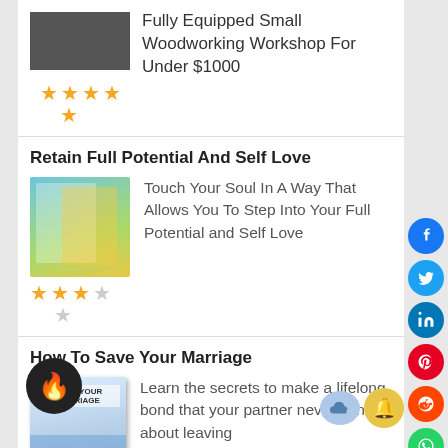Fully Equipped Small Woodworking Workshop For Under $1000
[Figure (illustration): Star rating: 4.5 stars (4 full stars in a row, 1 star below)]
Retain Full Potential And Self Love
Touch Your Soul In A Way That Allows You To Step Into Your Full Potential and Self Love
[Figure (illustration): Star rating: 3 out of 5 stars (3 filled, 1 half or empty, 1 empty, with 1 small star below)]
How To Save Your Marriage
Learn the secrets to make a lifelong bond that your partner never thinks about leaving
[Figure (illustration): Star rating: 4 stars filled, 1 below (partial row)]